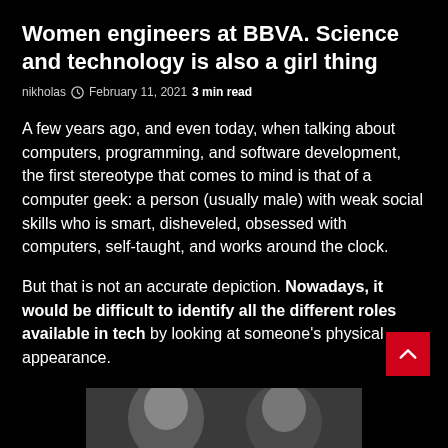Women engineers at BBVA. Science and technology is also a girl thing
nikholas  February 11, 2021  3 min read
A few years ago, and even today, when talking about computers, programming, and software development, the first stereotype that comes to mind is that of a computer geek: a person (usually male) with weak social skills who is smart, disheveled, obsessed with computers, self-taught, and works around the clock.
But that is not an accurate depiction. Nowadays, it would be difficult to identify all the different roles available in tech by looking at someone's physical appearance.
[Figure (photo): Black and white photo strip showing two people at the bottom of the page]